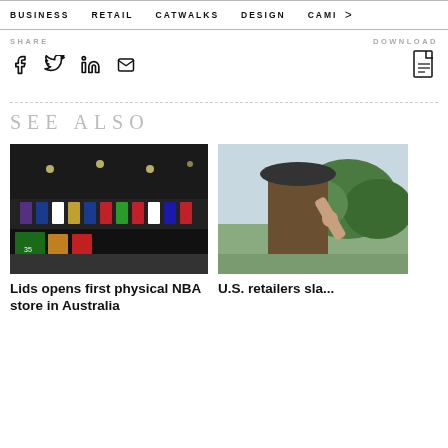BUSINESS   RETAIL   CATWALKS   DESIGN   CAMI >
SHARE   DOWNLOAD
[Figure (infographic): Social share icons: Facebook, Twitter, LinkedIn, Email and a PDF download icon]
SEE ALSO
[Figure (photo): Interior of a sports apparel store showing NBA jerseys displayed on racks and walls, dark atmosphere with colorful team uniforms]
[Figure (photo): Person wearing a hat outdoors with trees in background]
Lids opens first physical NBA store in Australia
U.S. retailers sla...